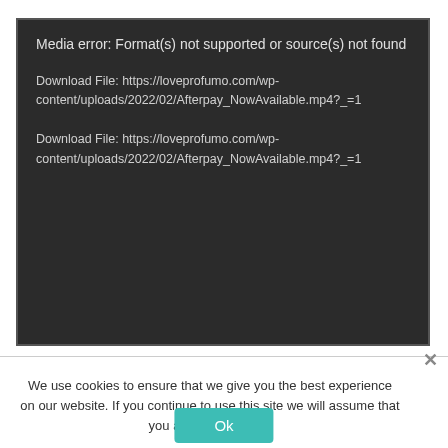[Figure (screenshot): Dark media player error box showing 'Media error: Format(s) not supported or source(s) not found' with two download file links pointing to https://loveprofumo.com/wp-content/uploads/2022/02/Afterpay_NowAvailable.mp4?_=1]
We use cookies to ensure that we give you the best experience on our website. If you continue to use this site we will assume that you are happy with it.
Ok